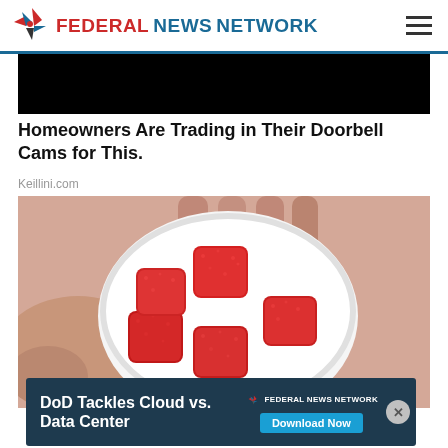FEDERAL NEWS NETWORK
[Figure (screenshot): Black rectangular image strip, partial content]
Homeowners Are Trading in Their Doorbell Cams for This.
Keillini.com
[Figure (photo): Close-up photo of red gummy candy pieces in a white container held by a hand]
[Figure (infographic): Bottom advertisement banner: DoD Tackles Cloud vs. Data Center - Download Now, Federal News Network logo]